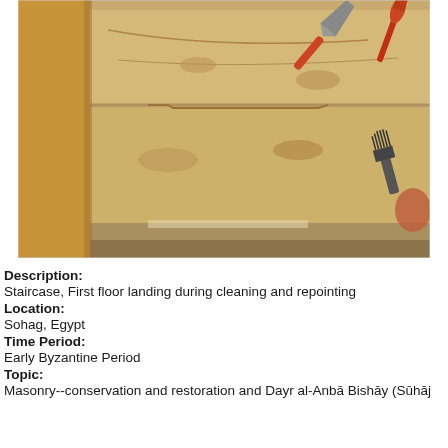[Figure (photo): Close-up photo of a staircase stone floor landing being cleaned and repointed. Stone blocks with mortar joints are visible. Tools including a trowel, brush, and wire brush are resting on the stones. The scene is lit naturally showing sandy/tan colored stonework.]
Description: Staircase, First floor landing during cleaning and repointing
Location: Sohag, Egypt
Time Period: Early Byzantine Period
Topic: Masonry--conservation and restoration and Dayr al-Anbā Bishāy (Sūhāj